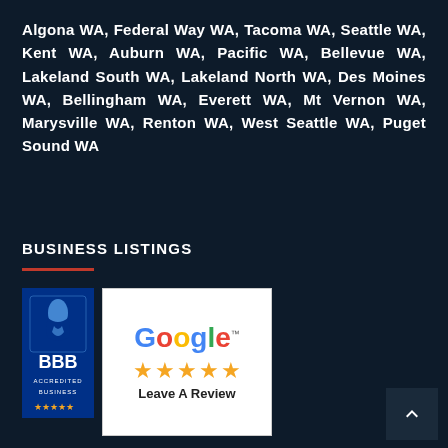Algona WA, Federal Way WA, Tacoma WA, Seattle WA, Kent WA, Auburn WA, Pacific WA, Bellevue WA, Lakeland South WA, Lakeland North WA, Des Moines WA, Bellingham WA, Everett WA, Mt Vernon WA, Marysville WA, Renton WA, West Seattle WA, Puget Sound WA
BUSINESS LISTINGS
[Figure (logo): BBB Accredited Business badge and Google 5-star Leave A Review badge]